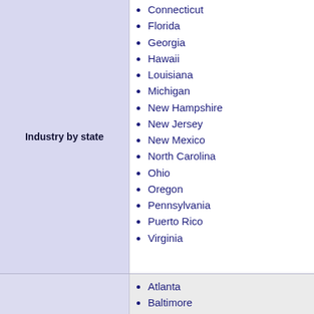Connecticut
Florida
Georgia
Hawaii
Louisiana
Michigan
Industry by state
New Hampshire
New Jersey
New Mexico
North Carolina
Ohio
Oregon
Pennsylvania
Puerto Rico
Virginia
Atlanta
Baltimore
Chicago